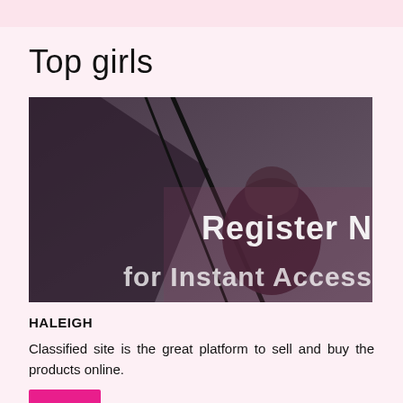Top girls
[Figure (photo): Dark moody photo with a person; overlay text reads 'Register NOW for Instant Access']
HALEIGH
Classified site is the great platform to sell and buy the products online.